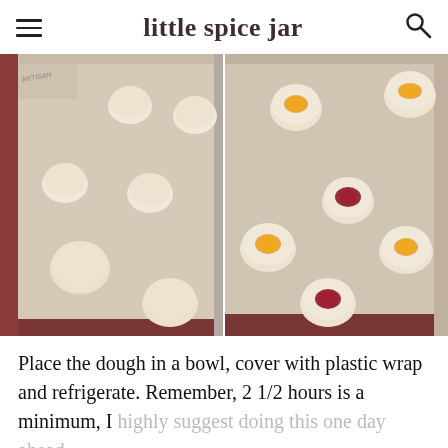little spice jar
[Figure (photo): Two side-by-side photos of cookie dough balls on a silicone baking mat in a sheet pan. Left photo shows plain dough balls; right photo shows similar dough balls with jam thumbprint indentations filled with orange and red/cranberry jam.]
Place the dough in a bowl, cover with plastic wrap and refrigerate. Remember, 2 1/2 hours is a minimum, I highly suggest doing this one day ahead.